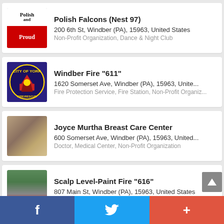[Figure (screenshot): Mobile app listing screenshot showing local organizations in Windber, PA area with logos/photos, names, addresses, and categories.]
Polish Falcons (Nest 97)
200 6th St, Windber (PA), 15963, United States
Non-Profit Organization, Dance & Night Club
Windber Fire "611"
1620 Somerset Ave, Windber (PA), 15963, Unite...
Fire Protection Service, Fire Station, Non-Profit Organiz...
Joyce Murtha Breast Care Center
600 Somerset Ave, Windber (PA), 15963, United...
Doctor, Medical Center, Non-Profit Organization
Scalp Level-Paint Fire "616"
807 Main St, Windber (PA), 15963, United States
Community Organization, Fire Station, Government Or...
First Assembly of God Wind...
f  [Twitter bird]  +